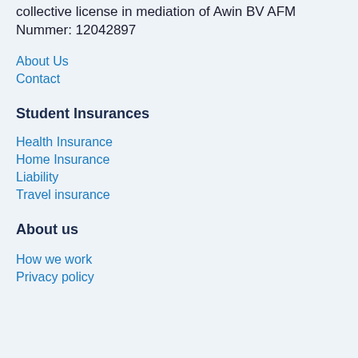collective license in mediation of Awin BV AFM Nummer: 12042897
About Us
Contact
Student Insurances
Health Insurance
Home Insurance
Liability
Travel insurance
About us
How we work
Privacy policy